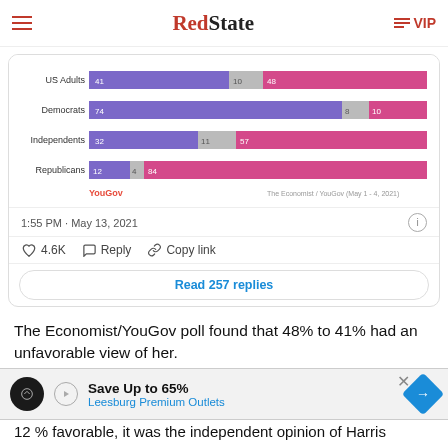RedState | VIP
[Figure (stacked-bar-chart): YouGov poll - Favorable/Unfavorable opinions]
1:55 PM · May 13, 2021
4.6K  Reply  Copy link
Read 257 replies
The Economist/YouGov poll found that 48% to 41% had an unfavorable view of her.
While the poll was split along party lines, with
[Figure (infographic): Advertisement banner: Save Up to 65% Leesburg Premium Outlets]
12 % favorable, it was the independent opinion of Harris